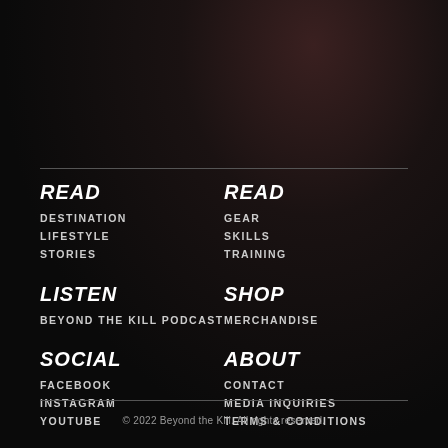READ
DESTINATION
LIFESTYLE
STORIES
READ
GEAR
SKILLS
TRAINING
LISTEN
BEYOND THE KILL PODCAST
SHOP
MERCHANDISE
SOCIAL
FACEBOOK
INSTAGRAM
YOUTUBE
ABOUT
CONTACT
MEDIA INQUIRIES
TERMS & CONDITIONS
© 2022 Beyond the Kill. All rights reserved.